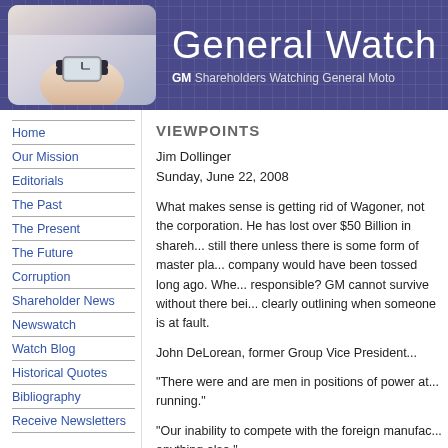General Watch — GM Shareholders Watching General Mo...
Home
Our Mission
Editorials
The Past
The Present
The Future
Corruption
Shareholder News
Newswatch
Watch Blog
Historical Quotes
Bibliography
Receive Newsletters
VIEWPOINTS
Jim Dollinger
Sunday, June 22, 2008
What makes sense is getting rid of Wagoner, not the corporation. He has lost over $50 Billion in shareh... still there unless there is some form of master pla... company would have been tossed long ago. Whe... responsible? GM cannot survive without there bei... clearly outlining when someone is at fault.
John DeLorean, former Group Vice President...
"There were and are men in positions of power at... running."
"Our inability to compete with the foreign manufac... anything else."